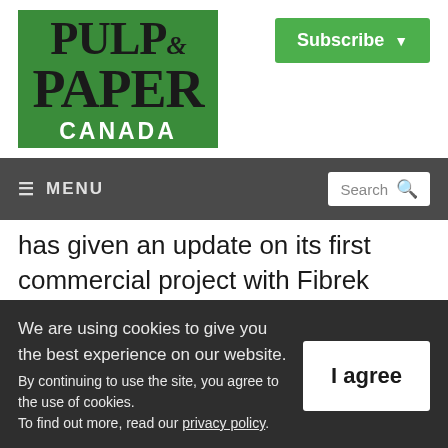[Figure (logo): Pulp & Paper Canada logo — green background with bold serif text for PULP & PAPER and white sans-serif text for CANADA]
[Figure (other): Subscribe button — green rounded rectangle with white bold text 'Subscribe' and a dropdown arrow]
≡ MENU   Search 🔍
has given an update on its first commercial project with Fibrek General Partnership, a subsidiary of Resolute Forest Products and Serres Toundra.
We are using cookies to give you the best experience on our website.
By continuing to use the site, you agree to the use of cookies.
To find out more, read our privacy policy.